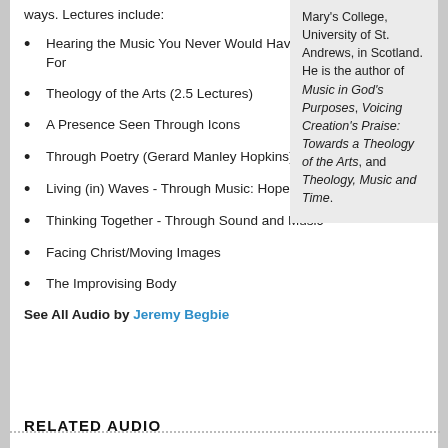ways. Lectures include:
Hearing the Music You Never Would Have Known to Listen For
Theology of the Arts (2.5 Lectures)
A Presence Seen Through Icons
Through Poetry (Gerard Manley Hopkins): Creation
Living (in) Waves - Through Music: Hope
Thinking Together - Through Sound and Music
Facing Christ/Moving Images
The Improvising Body
See All Audio by Jeremy Begbie
Mary's College, University of St. Andrews, in Scotland. He is the author of Music in God's Purposes, Voicing Creation's Praise: Towards a Theology of the Arts, and Theology, Music and Time.
RELATED AUDIO